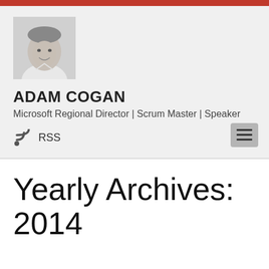[Figure (photo): Black and white headshot photo of Adam Cogan, a man in a white shirt smiling]
ADAM COGAN
Microsoft Regional Director | Scrum Master | Speaker
RSS
Yearly Archives: 2014